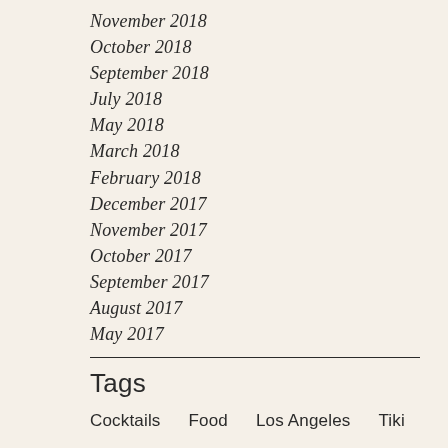November 2018
October 2018
September 2018
July 2018
May 2018
March 2018
February 2018
December 2017
November 2017
October 2017
September 2017
August 2017
May 2017
Tags
Cocktails   Food   Los Angeles   Tiki